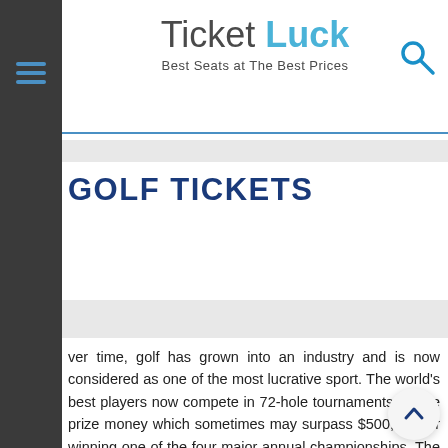TicketLuck — Best Seats at The Best Prices
GOLF TICKETS
Over time, golf has grown into an industry and is now considered as one of the most lucrative sport. The world's best players now compete in 72-hole tournaments for the prize money which sometimes may surpass $500,000 for winning one of the four major annual championships. The very best golfers; a small privileged group can as much as earn around 8-figure incomes (in US Dollars). According to Forbes magazine Tiger Woods is the top earning sportsman in the world. He has really taken golf on to a new level inspiring the new generation. Today, golf is played in almost every country and the exciting championships and tournaments are closely followed by millions on television.